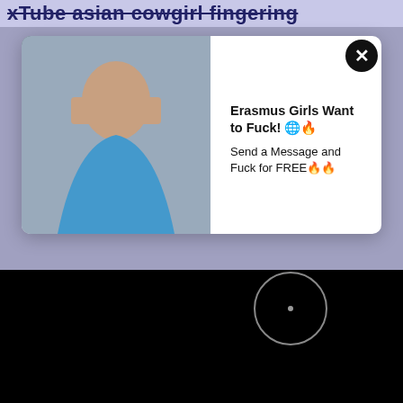xTube asian cowgirl fingering
[Figure (screenshot): Advertisement popup overlay with close button (X), a photo of a woman on the left, and bold text: 'Erasmus Girls Want to Fuck! Send a Message and Fuck for FREE']
[Figure (screenshot): Black video player area with a circular play/cursor indicator in the lower right]